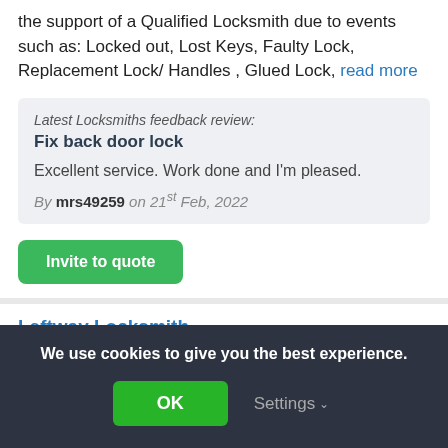the support of a Qualified Locksmith due to events such as: Locked out, Lost Keys, Faulty Lock, Replacement Lock/ Handles , Glued Lock, read more
Latest Locksmiths feedback review: Fix back door lock
Excellent service. Work done and I'm pleased.
By mrs49259 on 21st Feb, 2022
Invite to quote
Leftway Locksmith
We use cookies to give you the best experience.
OK
Settings